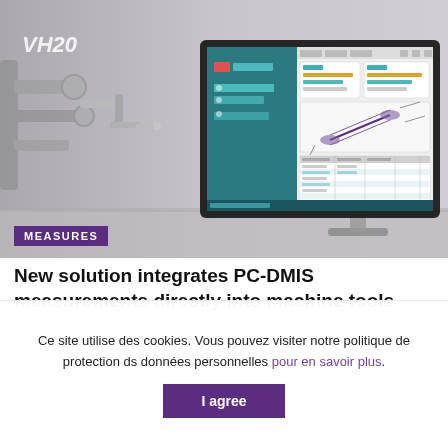[Figure (photo): Industrial CMM robotic arm on the left, computer monitor displaying PC-DMIS software interface with teal panels and measurement data on the right. Badge 'MEASURES' in purple at bottom-left. Text 'VH20' in italic white at top-left.]
New solution integrates PC-DMIS measurements directly into machine tools
Ce site utilise des cookies. Vous pouvez visiter notre politique de protection ds données personnelles pour en savoir plus.
I agree